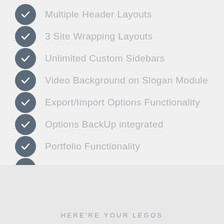Multiple Header Layouts
3 Site Wrapping Layouts
Unlimited Custom Sidebars
Video Background on Slogan Module
Export/Import Options Functionality
Options BackUp integrated
Portfolio Functionality
Back to Top Button
HERE'RE YOUR LEGOS